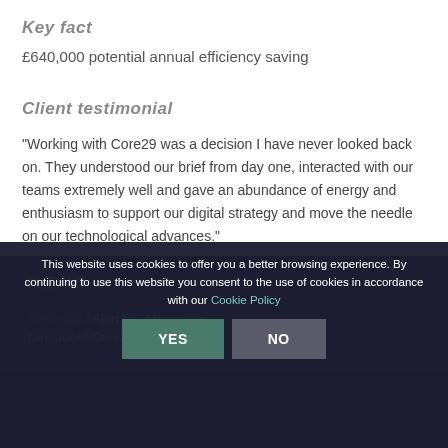Key fact
£640,000 potential annual efficiency saving
Client testimonial
"Working with Core29 was a decision I have never looked back on. They understood our brief from day one, interacted with our teams extremely well and gave an abundance of energy and enthusiasm to support our digital strategy and move the needle on our technological advances."
This website uses cookies to offer you a better browsing experience. By continuing to use this website you consent to the use of cookies in accordance with our Cookie Policy
YES  NO
NEWS
02-05-2022  Alan D...  Managing Director of Core29